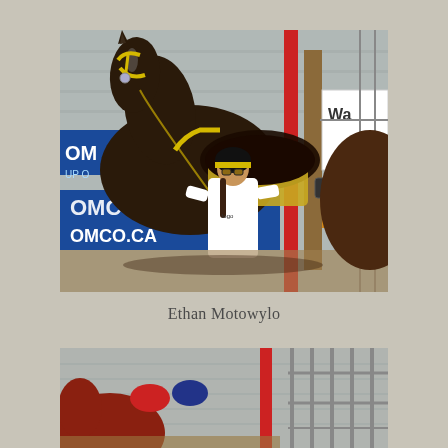[Figure (photo): A young person wearing a white shirt, sunglasses, and a black and yellow helmet stands next to a dark brown horse with a yellow harness and saddle. A banner reading 'OMCO.CA' is visible in the background along with metal barn structures and advertising signs.]
Ethan Motowylo
[Figure (photo): Partial view of horses and riders in red and blue helmets near metal pen fencing, with a red pole and grey metal barn structure visible in the background.]